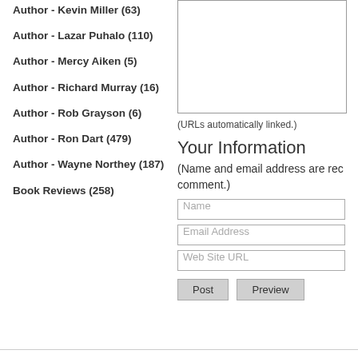Author - Kevin Miller (63)
Author - Lazar Puhalo (110)
Author - Mercy Aiken (5)
Author - Richard Murray (16)
Author - Rob Grayson (6)
Author - Ron Dart (479)
Author - Wayne Northey (187)
Book Reviews (258)
(URLs automatically linked.)
Your Information
(Name and email address are required. Email address will not be displayed with the comment.)